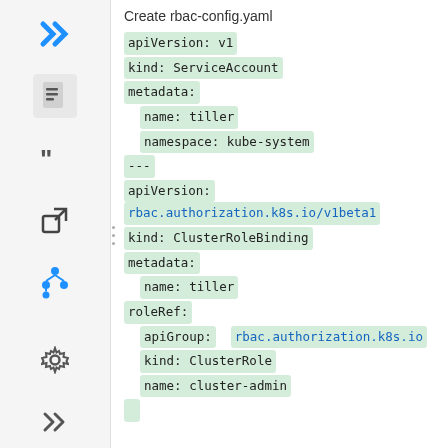Create rbac-config.yaml
apiVersion: v1
kind: ServiceAccount
metadata:
  name: tiller
  namespace: kube-system
---
apiVersion:  rbac.authorization.k8s.io/v1beta1
kind: ClusterRoleBinding
metadata:
  name: tiller
roleRef:
  apiGroup:  rbac.authorization.k8s.io
  kind: ClusterRole
  name: cluster-admin